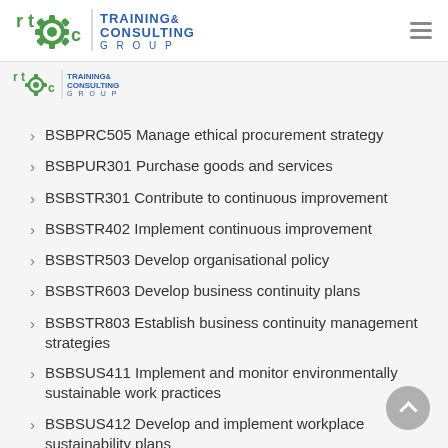RTC Training & Consulting Group — navigation header
[Figure (logo): RTC Training & Consulting Group logo (large, top header)]
[Figure (logo): RTC Training & Consulting Group logo (small, secondary)]
BSBPRC505 Manage ethical procurement strategy
BSBPUR301 Purchase goods and services
BSBSTR301 Contribute to continuous improvement
BSBSTR402 Implement continuous improvement
BSBSTR503 Develop organisational policy
BSBSTR603 Develop business continuity plans
BSBSTR803 Establish business continuity management strategies
BSBSUS411 Implement and monitor environmentally sustainable work practices
BSBSUS412 Develop and implement workplace sustainability plans
BSBSUS413 Evaluate and report on workplace sustainability